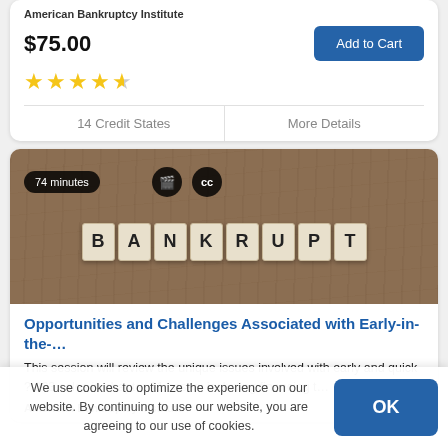American Bankruptcy Institute
$75.00
Add to Cart
★★★★½
14 Credit States
More Details
[Figure (photo): Photo of scrabble tiles spelling BANKRUPT on a wooden surface, with overlaid badges showing 74 minutes, a book icon, and CC]
Opportunities and Challenges Associated with Early-in-the-…
This session will review the unique issues involved with early and quick ? 363 sales in chapter 11 cases, including financing t…
American Bankruptcy Institute
We use cookies to optimize the experience on our website. By continuing to use our website, you are agreeing to our use of cookies.
OK